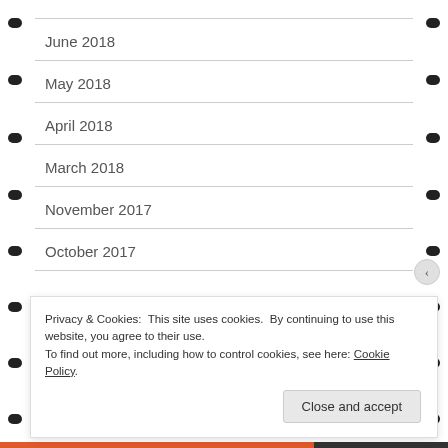June 2018
May 2018
April 2018
March 2018
November 2017
October 2017
Privacy & Cookies: This site uses cookies. By continuing to use this website, you agree to their use.
To find out more, including how to control cookies, see here: Cookie Policy
[Close and accept]